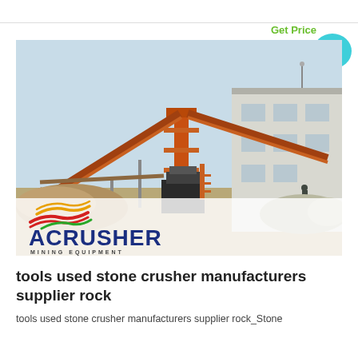[Figure (photo): Industrial stone crusher / mining equipment facility with large orange steel conveyor and crane structures against a pale sky, with a white building on the right. ACRUSHER MINING EQUIPMENT logo overlaid at the bottom of the image.]
tools used stone crusher manufacturers supplier rock
tools used stone crusher manufacturers supplier rock_Stone